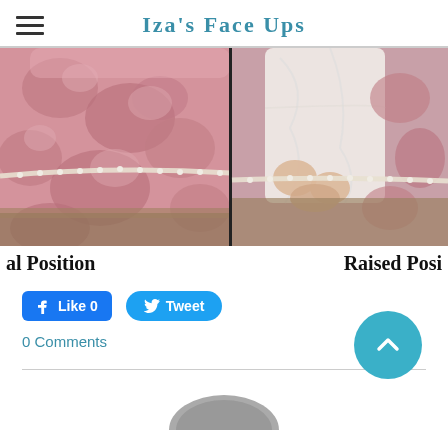Iza's Face Ups
[Figure (photo): Split photo showing two positions of a doll or figure wearing a pink floral dress with pearl/bead belt trim. Left side labeled 'al Position', right side labeled 'Raised Posi'.]
al Position    Raised Posi
[Figure (other): Facebook Like button (0 likes) and Twitter Tweet button]
0 Comments
[Figure (other): Scroll to top circular button with upward chevron arrow]